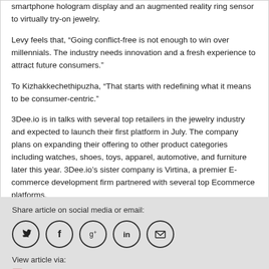smartphone hologram display and an augmented reality ring sensor to virtually try-on jewelry.
Levy feels that, “Going conflict-free is not enough to win over millennials. The industry needs innovation and a fresh experience to attract future consumers.”
To Kizhakkechethipuzha, “That starts with redefining what it means to be consumer-centric.”
3Dee.io is in talks with several top retailers in the jewelry industry and expected to launch their first platform in July. The company plans on expanding their offering to other product categories including watches, shoes, toys, apparel, automotive, and furniture later this year. 3Dee.io’s sister company is Virtina, a premier E-commerce development firm partnered with several top Ecommerce platforms.
Share article on social media or email:
[Figure (infographic): Social media sharing icons: Twitter, Facebook, Google+, LinkedIn, Email (envelope) — each in a circle outline]
View article via:
PDF   PRINT